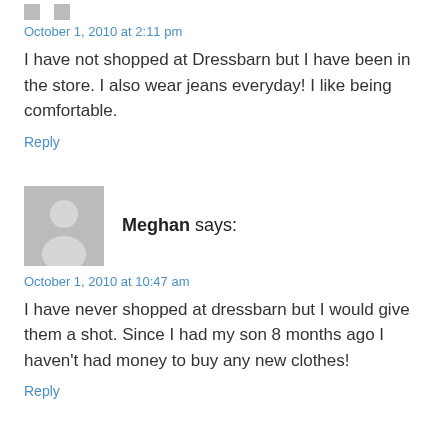October 1, 2010 at 2:11 pm
I have not shopped at Dressbarn but I have been in the store. I also wear jeans everyday! I like being comfortable.
Reply
[Figure (illustration): Generic user avatar placeholder - grey silhouette of a person on grey background]
Meghan says:
October 1, 2010 at 10:47 am
I have never shopped at dressbarn but I would give them a shot. Since I had my son 8 months ago I haven't had money to buy any new clothes!
Reply